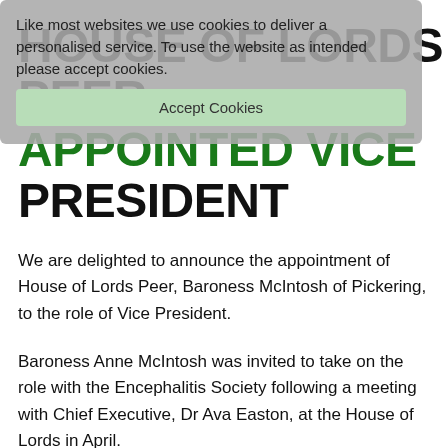Like most websites we use cookies to deliver a personalised service. To use the website as intended please accept cookies.
HOUSE OF LORDS PEER APPOINTED VICE PRESIDENT
We are delighted to announce the appointment of House of Lords Peer, Baroness McIntosh of Pickering, to the role of Vice President.
Baroness Anne McIntosh was invited to take on the role with the Encephalitis Society following a meeting with Chief Executive, Dr Ava Easton, at the House of Lords in April.
She said: